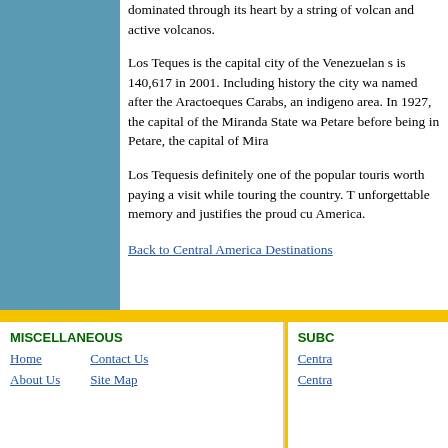[Figure (other): Blue sidebar panel on left side of page]
dominated through its heart by a string of volcanos and active volcanos.
Los Teques is the capital city of the Venezuelan s... is 140,617 in 2001. Including history the city wa... named after the Aractoeques Carabs, an indigen... area. In 1927, the capital of the Miranda State wa... Petare before being in Petare, the capital of Mira...
Los Tequesis definitely one of the popular touris... worth paying a visit while touring the country. T... unforgettable memory and justifies the proud cu... America.
Back to Central America Destinations
MISCELLANEOUS
Home
About Us
Contact Us
Site Map
SUBC...
Centra...
Centra...